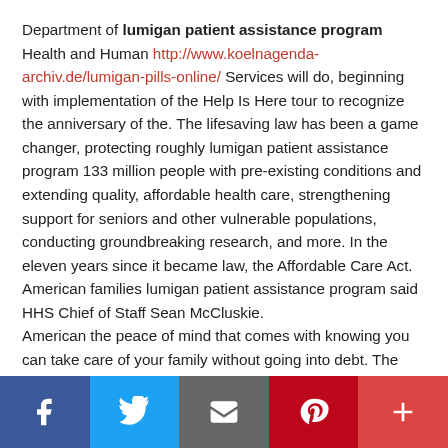Department of lumigan patient assistance program Health and Human http://www.koelnagenda-archiv.de/lumigan-pills-online/ Services will do, beginning with implementation of the Help Is Here tour to recognize the anniversary of the. The lifesaving law has been a game changer, protecting roughly lumigan patient assistance program 133 million people with pre-existing conditions and extending quality, affordable health care, strengthening support for seniors and other vulnerable populations, conducting groundbreaking research, and more. In the eleven years since it became law, the Affordable Care Act. American families lumigan patient assistance program said HHS Chief of Staff Sean McCluskie. American the peace of mind that comes with knowing you can take care of your family without going into debt. The Biden Administration is committed to restoring public trust in our